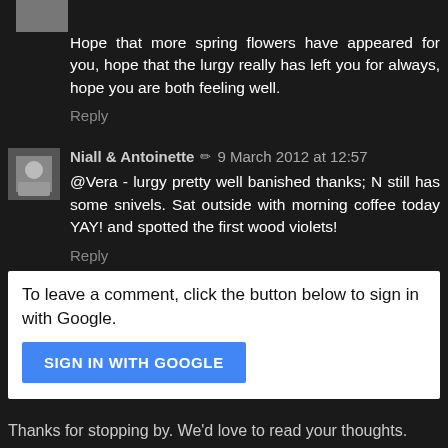Hope that more spring flowers have appeared for you, hope that the lurgy really has left you for always, hope you are both feeling well.
Reply
Niall & Antoinette ✏ 9 March 2012 at 12:57
@Vera - lurgy pretty well banished thanks; N still has some snivels. Sat outside with morning coffee today YAY! and spotted the first wood violets!
Reply
To leave a comment, click the button below to sign in with Google.
SIGN IN WITH GOOGLE
Thanks for stopping by. We'd love to read your thoughts.